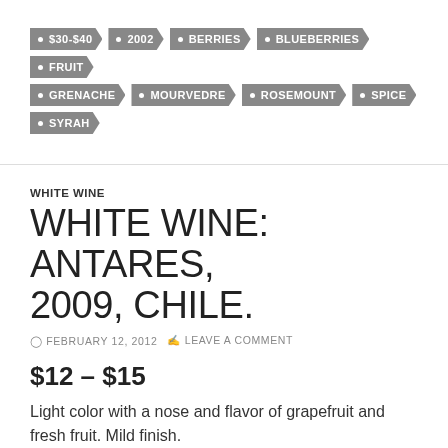• $30-$40  • 2002  • BERRIES  • BLUEBERRIES  • FRUIT  • GRENACHE  • MOURVEDRE  • ROSEMOUNT  • SPICE  • SYRAH
WHITE WINE
WHITE WINE: ANTARES, 2009, CHILE.
FEBRUARY 12, 2012  LEAVE A COMMENT
$12 – $15
Light color with a nose and flavor of grapefruit and fresh fruit. Mild finish.